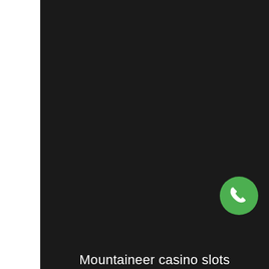[Figure (screenshot): Dark/black background mobile app screenshot with a green circular phone/call button in the lower right area, and partial text at the bottom reading 'Mountaineer casino slots']
Mountaineer casino slots